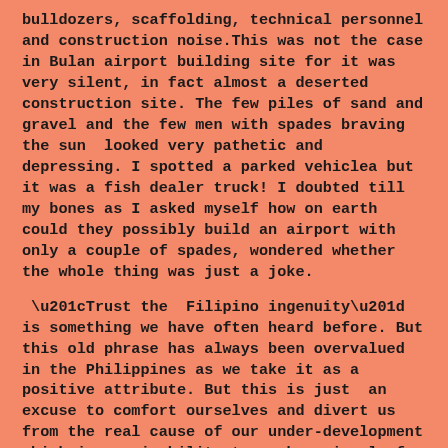bulldozers, scaffolding, technical personnel and construction noise.This was not the case in Bulan airport building site for it was very silent, in fact almost a deserted construction site. The few piles of sand and gravel and the few men with spades braving the sun  looked very pathetic and depressing. I spotted a parked vehiclea but it was a fish dealer truck! I doubted till my bones as I asked myself how on earth could they possibly build an airport with only a couple of spades, wondered whether the whole thing was just a joke.
“Trust the  Filipino ingenuity”  is something we have often heard before. But this old phrase has always been overvalued in the Philippines as we take it as a positive attribute. But this is just  an excuse to comfort ourselves and divert us from the real cause of our under-development which is our inability to work seriously for our own country, make self-sacrifice for the benefit of all and to view oneself as part of the team of nation-builders. These qualities  should be enough to combat corruption